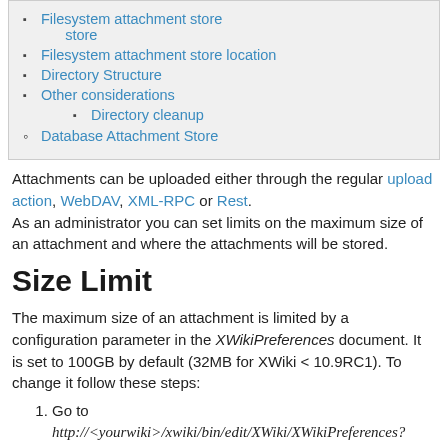Filesystem attachment store location
Directory Structure
Other considerations
Directory cleanup
Database Attachment Store
Attachments can be uploaded either through the regular upload action, WebDAV, XML-RPC or Rest. As an administrator you can set limits on the maximum size of an attachment and where the attachments will be stored.
Size Limit
The maximum size of an attachment is limited by a configuration parameter in the XWikiPreferences document. It is set to 100GB by default (32MB for XWiki < 10.9RC1). To change it follow these steps:
Go to http://<yourwiki>/xwiki/bin/edit/XWiki/XWikiPreferences?editor=objects